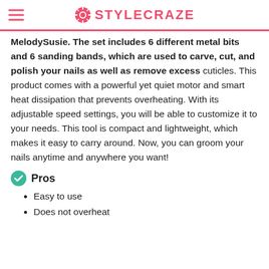STYLECRAZE
MelodySusie. The set includes 6 different metal bits and 6 sanding bands, which are used to carve, cut, and polish your nails as well as remove excess cuticles. This product comes with a powerful yet quiet motor and smart heat dissipation that prevents overheating. With its adjustable speed settings, you will be able to customize it to your needs. This tool is compact and lightweight, which makes it easy to carry around. Now, you can groom your nails anytime and anywhere you want!
Pros
Easy to use
Does not overheat